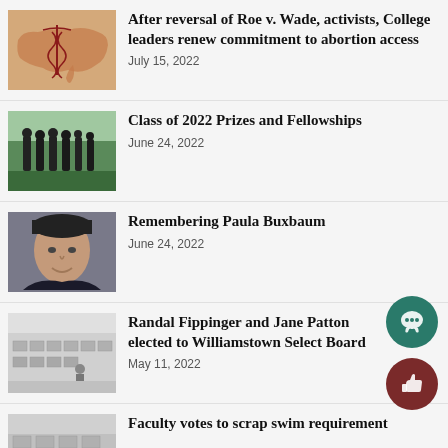[Figure (photo): Map of the United States with a medical caduceus symbol, illustrated in tan/brown tones]
After reversal of Roe v. Wade, activists, College leaders renew commitment to abortion access
July 15, 2022
[Figure (photo): Graduates in black robes walking away from camera on a green lawn]
Class of 2022 Prizes and Fellowships
June 24, 2022
[Figure (photo): Portrait of a person wearing a black beanie hat, smiling]
Remembering Paula Buxbaum
June 24, 2022
[Figure (photo): Indoor facility with rows of voting booths or tables, people visible in background]
Randal Fippinger and Jane Patton elected to Williamstown Select Board
May 11, 2022
[Figure (photo): Interior room or building, partially visible at bottom of page]
Faculty votes to scrap swim requirement